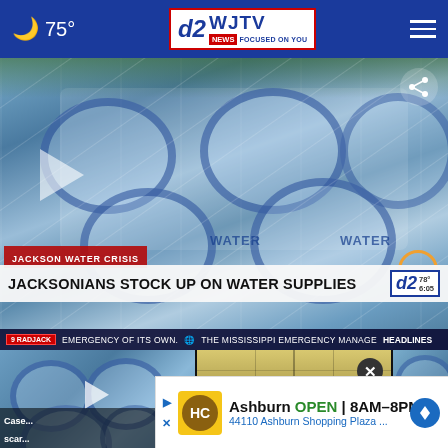🌙 75° | WJTV 12 News Focused On You
[Figure (screenshot): Video thumbnail showing stacked cases and pallets of bottled water with a play button overlay. Lower third shows 'JACKSON WATER CRISIS' breaking news bar, headline 'JACKSONIANS STOCK UP ON WATER SUPPLIES', WJTV 12 logo with 78°/6:05, and ticker reading 'EMERGENCY OF ITS OWN. THE MISSISSIPPI EMERGENCY MANAGE HEADLINES'. Share button in top right corner.]
[Figure (screenshot): Thumbnail of cases of bottled water with play button overlay. Caption text partially visible: 'Case... scar...']
[Figure (screenshot): Thumbnail of warehouse/distribution center interior with play button overlay and close (X) button. Caption text partially visible.]
[Figure (screenshot): Partial thumbnail on far right showing bottled water. Caption text partially visible: 'Gluck... bottle...']
Ashburn OPEN | 8AM–8PM
44110 Ashburn Shopping Plaza ...